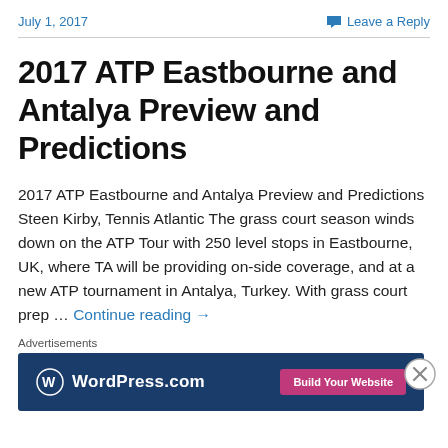July 1, 2017   Leave a Reply
2017 ATP Eastbourne and Antalya Preview and Predictions
2017 ATP Eastbourne and Antalya Preview and Predictions Steen Kirby, Tennis Atlantic The grass court season winds down on the ATP Tour with 250 level stops in Eastbourne, UK, where TA will be providing on-side coverage, and at a new ATP tournament in Antalya, Turkey. With grass court prep … Continue reading →
Advertisements
[Figure (other): WordPress.com advertisement banner with logo and 'Build Your Website' button]